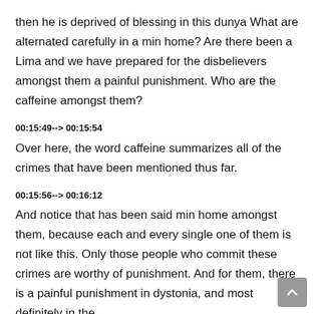then he is deprived of blessing in this dunya What are alternated carefully in a min home? Are there been a Lima and we have prepared for the disbelievers amongst them a painful punishment. Who are the caffeine amongst them?
00:15:49--> 00:15:54
Over here, the word caffeine summarizes all of the crimes that have been mentioned thus far.
00:15:56--> 00:16:12
And notice that has been said min home amongst them, because each and every single one of them is not like this. Only those people who commit these crimes are worthy of punishment. And for them, there is a painful punishment in dystonia, and most definitely in the